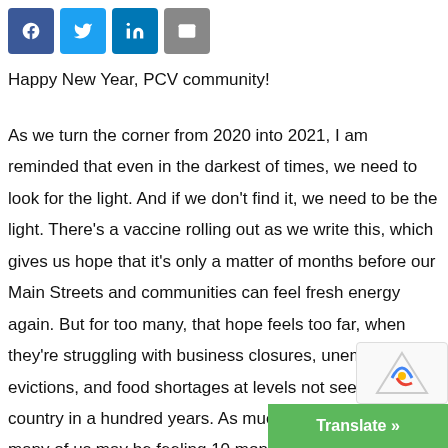[Figure (other): Social sharing buttons: Facebook (blue), Twitter (light blue), LinkedIn (dark blue), Email (gray)]
Happy New Year, PCV community!
As we turn the corner from 2020 into 2021, I am reminded that even in the darkest of times, we need to look for the light. And if we don't find it, we need to be the light. There's a vaccine rolling out as we write this, which gives us hope that it's only a matter of months before our Main Streets and communities can feel fresh energy again. But for too many, that hope feels too far, when they're struggling with business closures, unemployment, evictions, and food shortages at levels not seen in this country in a hundred years. As much pandemic fat… as many of us may be feeling 10 month…